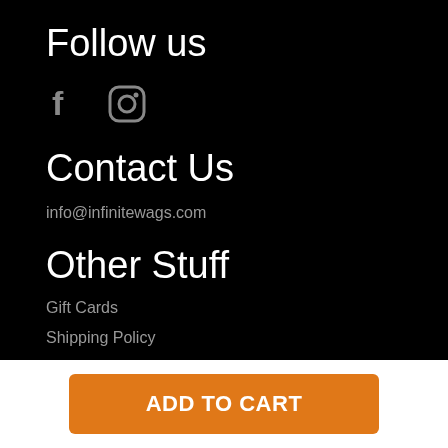Follow us
[Figure (illustration): Facebook and Instagram social media icons in gray]
Contact Us
info@infinitewags.com
Other Stuff
Gift Cards
Shipping Policy
Refund Policy
ADD TO CART